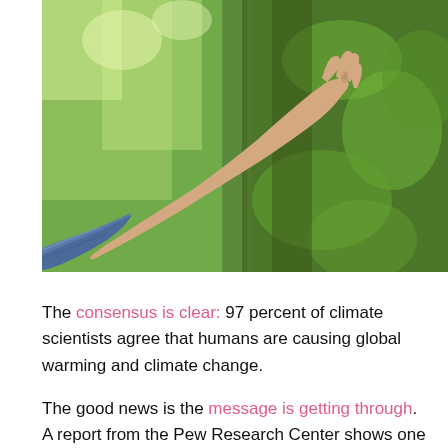[Figure (photo): A person's hand touching a moss-covered tree trunk in a green forest setting. The person is wearing a denim jacket sleeve. The background shows blurred green foliage.]
The consensus is clear: 97 percent of climate scientists agree that humans are causing global warming and climate change.
The good news is the message is getting through. A report from the Pew Research Center shows one of